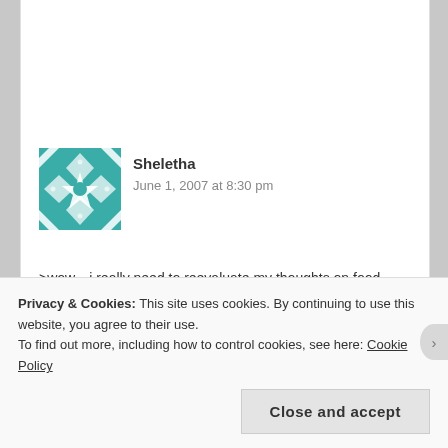[Figure (illustration): Teal/turquoise geometric quilt-pattern avatar for user Sheletha]
Sheletha
June 1, 2007 at 8:30 pm
>wow…i really need to reevaluate my thoughts on food…
★ Like
REPLY
Privacy & Cookies: This site uses cookies. By continuing to use this website, you agree to their use.
To find out more, including how to control cookies, see here: Cookie Policy
Close and accept